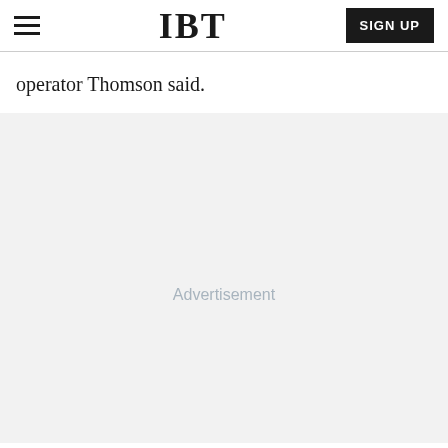IBT  SIGN UP
operator Thomson said.
[Figure (other): Advertisement placeholder area with light gray background and 'Advertisement' label text]